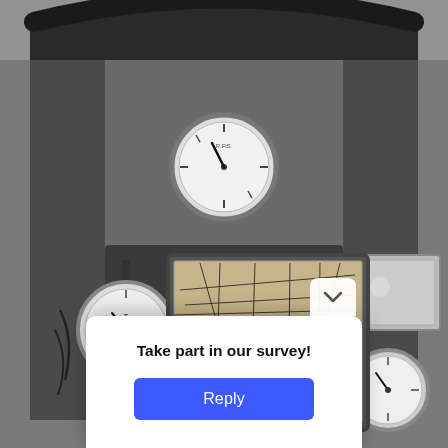[Figure (photo): Black and white photograph of an aircraft cockpit interior showing instrument panel with gauges (including a round gauge at top center, a clock/gauge on the left mounted on a pole, another gauge on the right), a map holder in the center displaying a road/route map, and a partial view of a control wheel at the bottom. The cockpit has a curved padded arch frame.]
Take part in our survey!
Reply